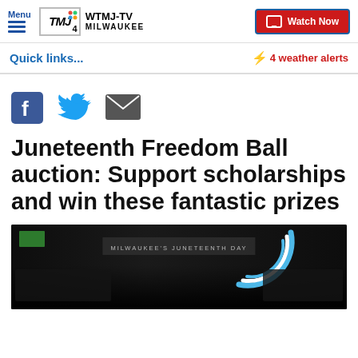Menu | WTMJ-TV MILWAUKEE | Watch Now
Quick links...
⚡ 4 weather alerts
[Figure (illustration): Social share icons: Facebook (blue F), Twitter (blue bird), Email (dark envelope)]
Juneteenth Freedom Ball auction: Support scholarships and win these fantastic prizes
[Figure (screenshot): Dark video thumbnail showing Milwaukee Juneteenth Day footage with a blue arc overlay graphic]